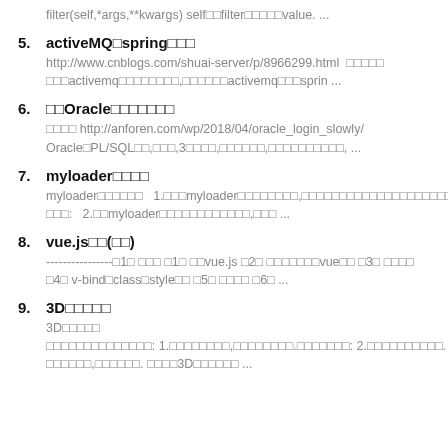filter(self,*args,**kwargs) self filter value. ...
5. activeMQ spring
http://www.cnblogs.com/shuai-server/p/8966299.html activemq activemq sprin ...
6. Oracle
 http://anforen.com/wp/2018/04/oracle_login_slowly/ Oracle PL/SQL 3 , ...
7. myloader
myloader 1. myloader 2. myloader ...
8. vue.js( )
 1 1 vue.js 2 vue 3 4 v-bind class style 5 6 ...
9. 3D
3D : 1. . : 2. . 3D ...